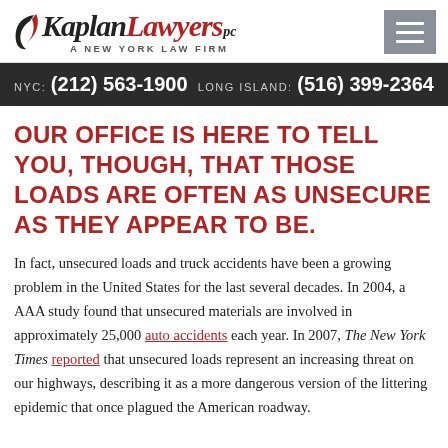Kaplan Lawyers PC — A New York Law Firm
NYC: (212) 563-1900   LONG ISLAND: (516) 399-2364
OUR OFFICE IS HERE TO TELL YOU, THOUGH, THAT THOSE LOADS ARE OFTEN AS UNSECURE AS THEY APPEAR TO BE.
In fact, unsecured loads and truck accidents have been a growing problem in the United States for the last several decades. In 2004, a AAA study found that unsecured materials are involved in approximately 25,000 auto accidents each year. In 2007, The New York Times reported that unsecured loads represent an increasing threat on our highways, describing it as a more dangerous version of the littering epidemic that once plagued the American roadway.